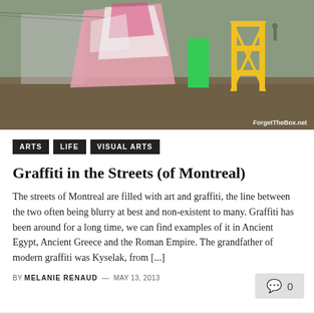[Figure (photo): Outdoor photo of large colorful murals/graffiti installations including pink and white geometric shapes and a yellow scaffolding structure on a dirt lot. ForgetTheBox.net watermark in bottom right.]
ARTS
LIFE
VISUAL ARTS
Graffiti in the Streets (of Montreal)
The streets of Montreal are filled with art and graffiti, the line between the two often being blurry at best and non-existent to many. Graffiti has been around for a long time, we can find examples of it in Ancient Egypt, Ancient Greece and the Roman Empire. The grandfather of modern graffiti was Kyselak, from [...]
BY MELANIE RENAUD — MAY 13, 2013